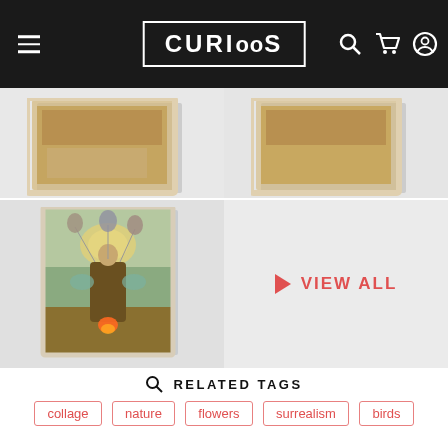CURIOSOS
[Figure (photo): Partial product thumbnails (two artwork canvases) cropped at top of page]
[Figure (photo): Surrealist artwork canvas showing a figure with balloons and ornate costume in a landscape, displayed on a canvas product]
[Figure (other): View All button area with pink/red play triangle icon and text VIEW ALL]
RELATED TAGS
collage
nature
flowers
surrealism
birds
digitalcollage
indian
marcellisboa
YOU MIGHT ALSO LIKE
[Figure (photo): Two partial product artwork thumbnails at bottom of page]